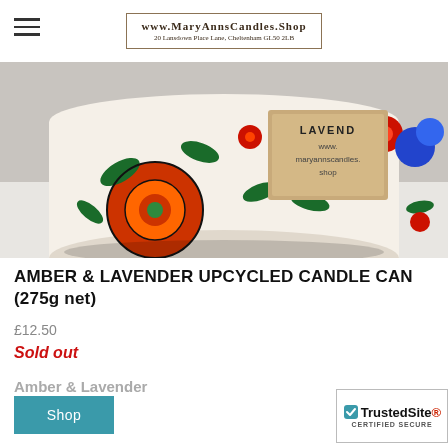www.MaryAnnsCandles.Shop 20 Lansdown Place Lane, Cheltenham GL50 2LB
[Figure (photo): Close-up photo of a colorful floral-patterned upcycled candle can (tin) with red, orange, green and blue flowers on cream background, featuring a kraft paper label with 'LAVENDER www.maryannscandles.shop' text]
AMBER & LAVENDER UPCYCLED CANDLE CAN (275g net)
£12.50
Sold out
Amber & Lavender
Shop
[Figure (logo): TrustedSite CERTIFIED SECURE badge]